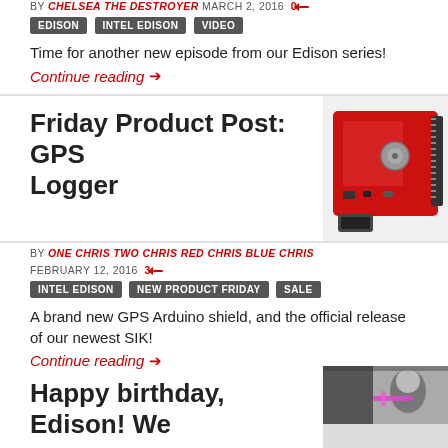BY CHELSEA THE DESTROYER MARCH 2, 2016  0
EDISON
INTEL EDISON
VIDEO
Time for another new episode from our Edison series!
Continue reading →
Friday Product Post: GPS Logger
[Figure (photo): Red GPS Arduino shield/logger board with antenna and connectors]
BY ONE CHRIS TWO CHRIS RED CHRIS BLUE CHRIS
FEBRUARY 12, 2016  3
INTEL EDISON
NEW PRODUCT FRIDAY
SALE
A brand new GPS Arduino shield, and the official release of our newest SIK!
Continue reading →
Happy birthday, Edison! We
[Figure (photo): Black and white photo of a person with a pink/purple light element]